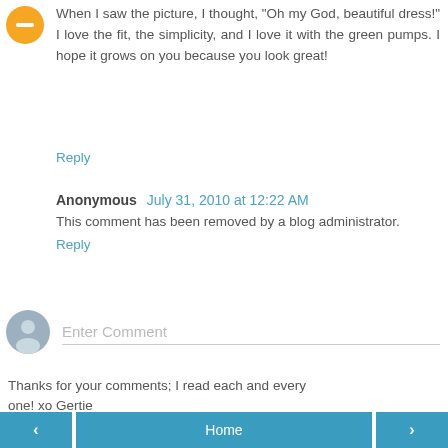[Figure (illustration): Orange circular avatar icon with minus/user symbol]
When I saw the picture, I thought, "Oh my God, beautiful dress!" I love the fit, the simplicity, and I love it with the green pumps. I hope it grows on you because you look great!
Reply
Anonymous  July 31, 2010 at 12:22 AM
This comment has been removed by a blog administrator.
Reply
[Figure (illustration): Gray circular avatar icon with user silhouette]
Enter Comment
Thanks for your comments; I read each and every one! xo Gertie
‹  Home  ›